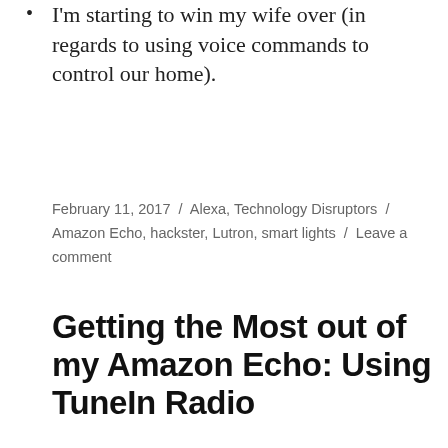I'm starting to win my wife over (in regards to using voice commands to control our home).
February 11, 2017 / Alexa, Technology Disruptors / Amazon Echo, hackster, Lutron, smart lights / Leave a comment
Getting the Most out of my Amazon Echo: Using TuneIn Radio
Telling Alexa to “Play The Big DM on TuneIn” has been the highlight of my Alexa experience to date